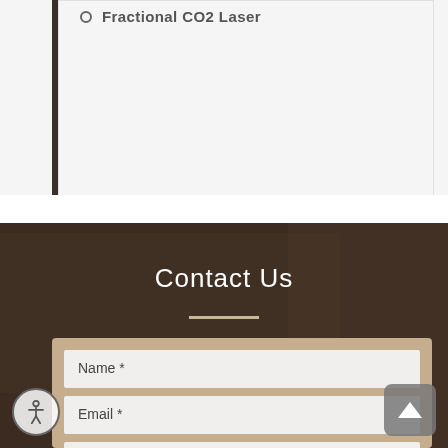Fractional CO2 Laser
Contact Us
Name *
Email *
Phone